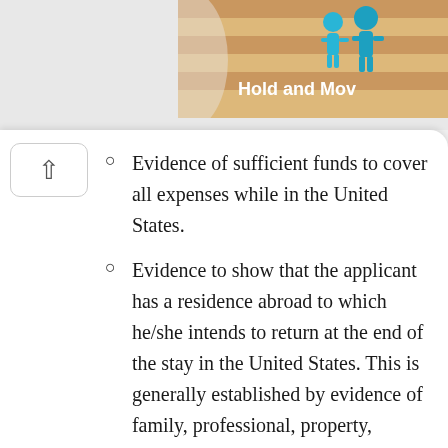[Figure (illustration): Partial view of a banner image showing a decorative graphic with 'Hold and Move' text and cyan-colored figure icons on a tan/peach background]
Evidence of sufficient funds to cover all expenses while in the United States.
Evidence to show that the applicant has a residence abroad to which he/she intends to return at the end of the stay in the United States. This is generally established by evidence of family, professional, property, employment or other ties and commitments to some country other than the